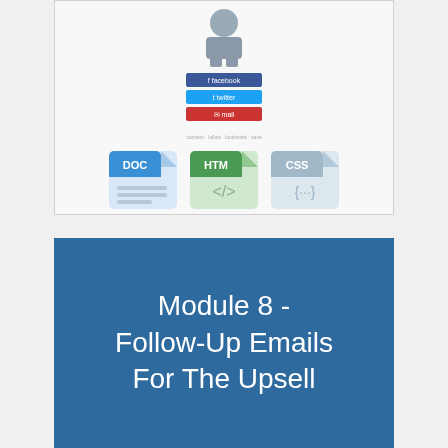[Figure (illustration): Screenshot showing a person icon with social media buttons (Facebook blue, Twitter blue, Email red) and below that three file type icons: DOC (blue document icon), HTM (green document icon), CSS (light blue document icon)]
Module 8 - Follow-Up Emails For The Upsell